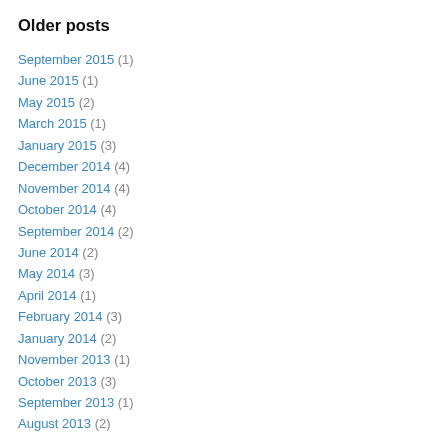Older posts
September 2015 (1)
June 2015 (1)
May 2015 (2)
March 2015 (1)
January 2015 (3)
December 2014 (4)
November 2014 (4)
October 2014 (4)
September 2014 (2)
June 2014 (2)
May 2014 (3)
April 2014 (1)
February 2014 (3)
January 2014 (2)
November 2013 (1)
October 2013 (3)
September 2013 (1)
August 2013 (2)